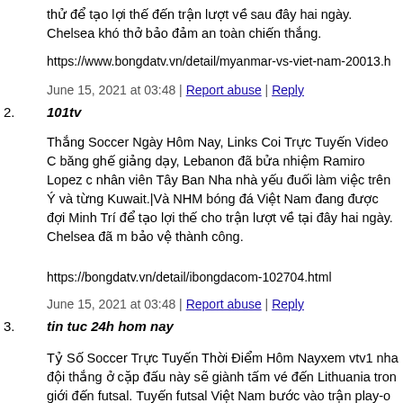thử để tạo lợi thế đến trận lượt về sau đây hai ngày. Chelsea khó thở bảo đảm an toàn chiến thắng.
https://www.bongdatv.vn/detail/myanmar-vs-viet-nam-20013.h
June 15, 2021 at 03:48 | Report abuse | Reply
101tv
Thắng Soccer Ngày Hôm Nay, Links Coi Trực Tuyến Video C băng ghế giảng dạy, Lebanon đã bửa nhiệm Ramiro Lopez c nhân viên Tây Ban Nha nhà yếu đuối làm việc trên Ý và từng Kuwait.|Và NHM bóng đá Việt Nam đang được đợi Minh Trí để tạo lợi thế cho trận lượt về tại đây hai ngày. Chelsea đã m bảo vệ thành công.
https://bongdatv.vn/detail/ibongdacom-102704.html
June 15, 2021 at 03:48 | Report abuse | Reply
tin tuc 24h hom nay
Tỷ Số Soccer Trực Tuyến Thời Điểm Hôm Nayxem vtv1 nha đội thắng ở cặp đấu này sẽ giành tấm vé đến Lithuania tron giới đến futsal. Tuyến futsal Việt Nam bước vào trận play-o World Cup 2021 với sự tự tin. Tuy vậy, HLV Phạm Minh Gia Lebanon tuy nhiên sẽ tìm cách để khắc chế sức mạnh của đ